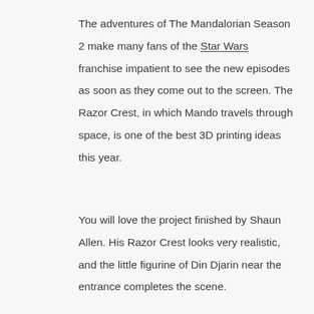The adventures of The Mandalorian Season 2 make many fans of the Star Wars franchise impatient to see the new episodes as soon as they come out to the screen. The Razor Crest, in which Mando travels through space, is one of the best 3D printing ideas this year.
You will love the project finished by Shaun Allen. His Razor Crest looks very realistic, and the little figurine of Din Djarin near the entrance completes the scene.